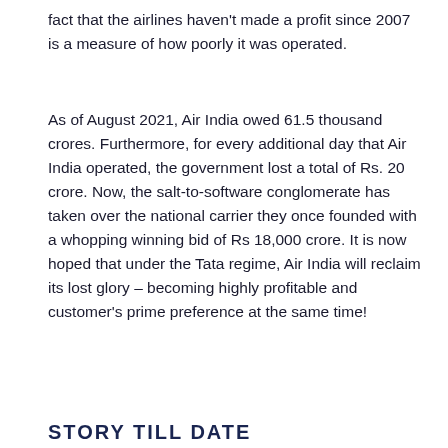fact that the airlines haven't made a profit since 2007 is a measure of how poorly it was operated.
As of August 2021, Air India owed 61.5 thousand crores. Furthermore, for every additional day that Air India operated, the government lost a total of Rs. 20 crore. Now, the salt-to-software conglomerate has taken over the national carrier they once founded with a whopping winning bid of Rs 18,000 crore. It is now hoped that under the Tata regime, Air India will reclaim its lost glory – becoming highly profitable and customer's prime preference at the same time!
STORY TILL DATE